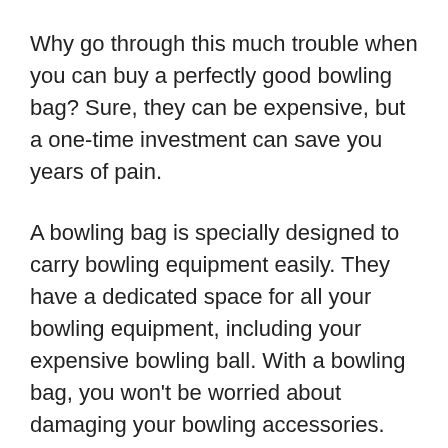Why go through this much trouble when you can buy a perfectly good bowling bag? Sure, they can be expensive, but a one-time investment can save you years of pain.
A bowling bag is specially designed to carry bowling equipment easily. They have a dedicated space for all your bowling equipment, including your expensive bowling ball. With a bowling bag, you won't be worried about damaging your bowling accessories.
In this article, we will discuss the best One-ball bowling bags in the market. We will also give you our top 3 choices of double